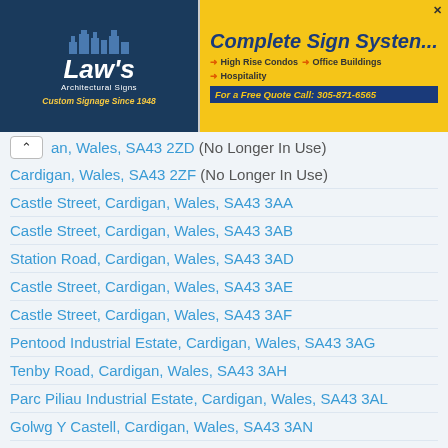[Figure (logo): Law's Architectural Signs logo with city skyline silhouette on dark blue background, tagline 'Custom Signage Since 1948']
[Figure (infographic): Complete Sign Systems advertisement banner in yellow/blue: High Rise Condos, Office Buildings, Hospitality, Free Quote Call 305-871-6565]
an, Wales, SA43 2ZD (No Longer In Use)
Cardigan, Wales, SA43 2ZF (No Longer In Use)
Castle Street, Cardigan, Wales, SA43 3AA
Castle Street, Cardigan, Wales, SA43 3AB
Station Road, Cardigan, Wales, SA43 3AD
Castle Street, Cardigan, Wales, SA43 3AE
Castle Street, Cardigan, Wales, SA43 3AF
Pentood Industrial Estate, Cardigan, Wales, SA43 3AG
Tenby Road, Cardigan, Wales, SA43 3AH
Parc Piliau Industrial Estate, Cardigan, Wales, SA43 3AL
Golwg Y Castell, Cardigan, Wales, SA43 3AN
Golwg Y Castell, Cardigan, Wales, SA43 3AP
Awel Yr Afon, Cardigan, Wales, SA43 3AQ